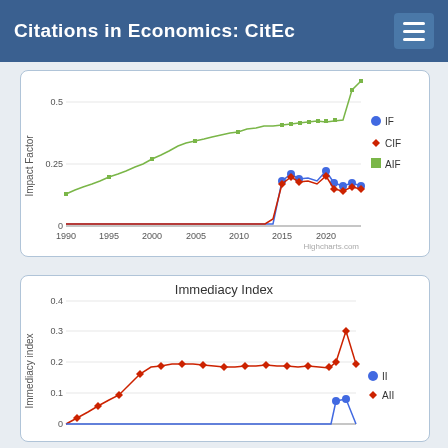Citations in Economics: CitEc
[Figure (line-chart): Impact Factor chart showing IF, CIF, and AIF series from 1990 to ~2022. AIF rises steeply to above 0.5 by end. IF and CIF remain near 0 until ~2014 then rise to ~0.2.]
[Figure (line-chart): Immediacy Index chart with II and AII series from ~1994 to ~2022. AII rises gradually to ~0.2 then spikes to ~0.3. II stays near 0 until ~2020 then rises to ~0.08.]